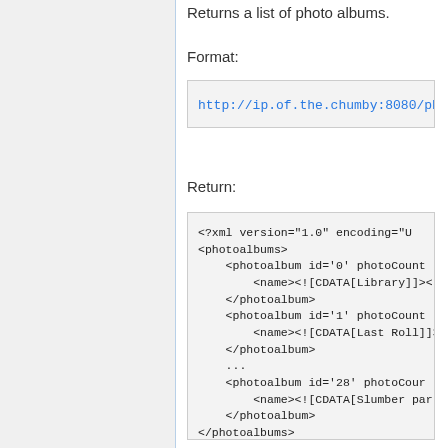Returns a list of photo albums.
Format:
http://ip.of.the.chumby:8080/ph
Return:
<?xml version="1.0" encoding="U
<photoalbums>
    <photoalbum id='0' photoCount
        <name><![CDATA[Library]]><
    </photoalbum>
    <photoalbum id='1' photoCount
        <name><![CDATA[Last Roll]]>
    </photoalbum>
    ...
    <photoalbum id='28' photoCour
        <name><![CDATA[Slumber par
    </photoalbum>
</photoalbums>